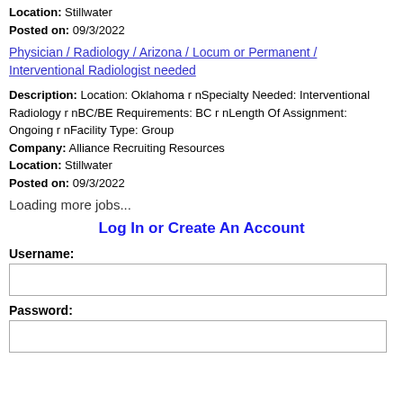Location: Stillwater
Posted on: 09/3/2022
Physician / Radiology / Arizona / Locum or Permanent / Interventional Radiologist needed
Description: Location: Oklahoma r nSpecialty Needed: Interventional Radiology r nBC/BE Requirements: BC r nLength Of Assignment: Ongoing r nFacility Type: Group
Company: Alliance Recruiting Resources
Location: Stillwater
Posted on: 09/3/2022
Loading more jobs...
Log In or Create An Account
Username:
Password: